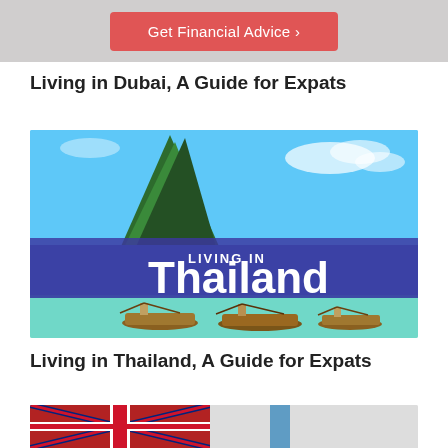[Figure (other): Red button on grey background reading 'Get Financial Advice >']
Living in Dubai, A Guide for Expats
[Figure (photo): Thailand travel image with tropical karst rock formation, longtail boats in turquoise water, overlaid text reading 'LIVING IN Thailand iExpats']
Living in Thailand, A Guide for Expats
[Figure (photo): Partial image showing flags (UK/other) at bottom of page]